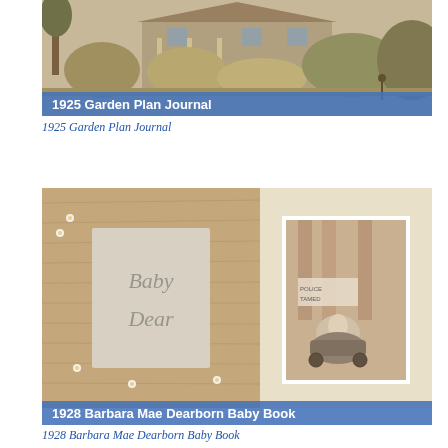[Figure (photo): Sepia-toned photograph of a large house with a porch, surrounded by trees and flowering bushes, with a blue banner overlay reading '1925 Garden Plan Journal']
1925 Garden Plan Journal
[Figure (photo): Two-panel image: left panel shows a handmade book cover with 'Baby Dear' written in cursive and small white flowers on a wooden background; right panel shows a sepia photograph of a baby in a carriage outside a building. Blue banner at bottom reads '1928 Barbara Mae Dearborn Baby Book']
1928 Barbara Mae Dearborn Baby Book